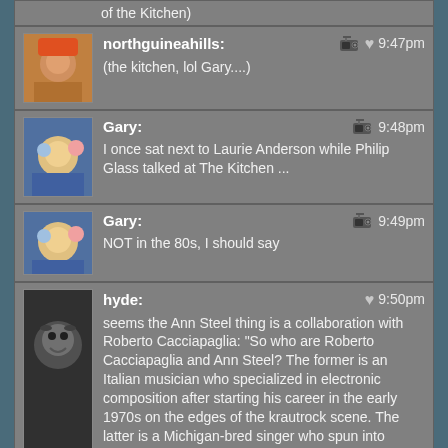of the Kitchen)
northguineahills: (the kitchen, lol Gary....) 9:47pm
Gary: I once sat next to Laurie Anderson while Philip Glass talked at The Kitchen ... 9:48pm
Gary: NOT in the 80s, I should say 9:49pm
hyde: seems the Ann Steel thing is a collaboration with Roberto Cacciapaglia: "So who are Roberto Cacciapaglia and Ann Steel? The former is an Italian musician who specialized in electronic composition after starting his career in the early 1970s on the edges of the krautrock scene. The latter is a Michigan-bred singer who spun into Cacciapaglia's orbit during a trip to Italy in the 1970s to do some modeling." pitchfork.com... 9:50pm
Jerel: sad to go, this is a great track! 9:50pm
Aaron: 9:51pm